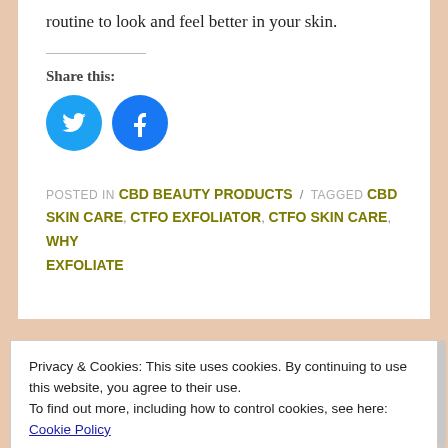routine to look and feel better in your skin.
Share this:
[Figure (illustration): Two circular social media icons: Twitter (blue bird) and Facebook (blue f logo)]
POSTED IN CBD BEAUTY PRODUCTS / TAGGED CBD SKIN CARE, CTFO EXFOLIATOR, CTFO SKIN CARE, WHY EXFOLIATE
Privacy & Cookies: This site uses cookies. By continuing to use this website, you agree to their use.
To find out more, including how to control cookies, see here:
Cookie Policy
Close and accept